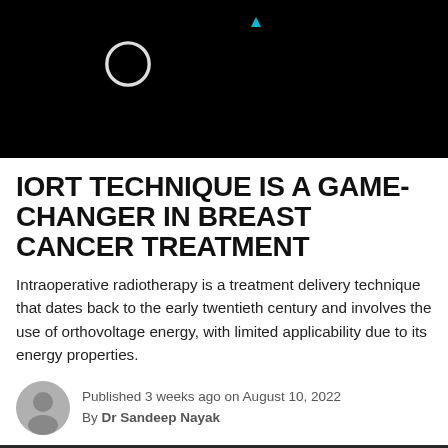[Figure (screenshot): Black background header image with a circular loading/video icon and a small cyan triangle indicator at top]
IORT TECHNIQUE IS A GAME-CHANGER IN BREAST CANCER TREATMENT
Intraoperative radiotherapy is a treatment delivery technique that dates back to the early twentieth century and involves the use of orthovoltage energy, with limited applicability due to its energy properties.
Published 3 weeks ago on August 10, 2022
By Dr Sandeep Nayak
[Figure (photo): Bottom portion of an operating room showing surgical ceiling lights]